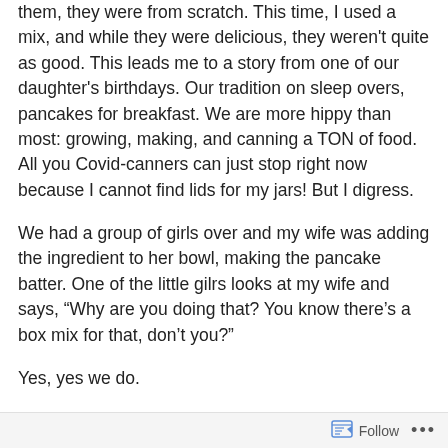them, they were from scratch. This time, I used a mix, and while they were delicious, they weren't quite as good. This leads me to a story from one of our daughter's birthdays. Our tradition on sleep overs, pancakes for breakfast. We are more hippy than most: growing, making, and canning a TON of food. All you Covid-canners can just stop right now because I cannot find lids for my jars! But I digress.
We had a group of girls over and my wife was adding the ingredient to her bowl, making the pancake batter. One of the little gilrs looks at my wife and says, “Why are you doing that? You know there’s a box mix for that, don’t you?”
Yes, yes we do.
I make a lot of bread, much for Christmas gifts, but
Follow